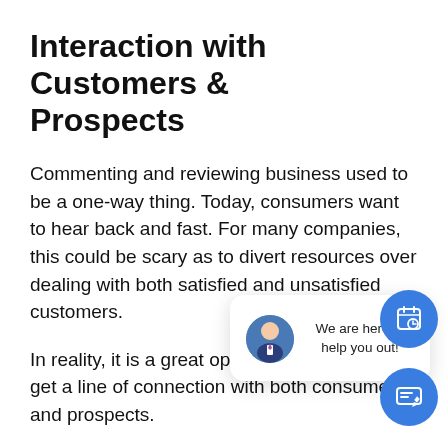Interaction with Customers & Prospects
Commenting and reviewing business used to be a one-way thing. Today, consumers want to hear back and fast. For many companies, this could be scary as to divert resources over dealing with both satisfied and unsatisfied customers.
In reality, it is a great opportunity for them to get a line of connection with both consumers and prospects.
Conclu
It is safe to summarize that no matter the up rolling out and new algorithms applied to the platforms, consumer online reviews are here to
[Figure (infographic): Chat widget popup with avatar of a suited person and text 'We are here to help you out!' with a close (×) button. Two blue circular buttons on the right: one with a calendar/clock icon and one with a message/edit icon.]